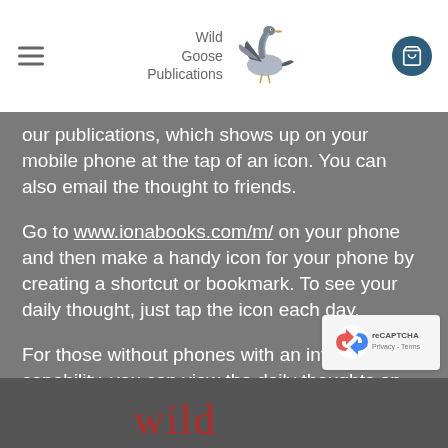Wild Goose Publications
our publications, which shows up on your mobile phone at the tap of an icon. You can also email the thought to friends.
Go to www.ionabooks.com/m/ on your phone and then make a handy icon for your phone by creating a shortcut or bookmark. To see your daily thought, just tap the icon each day.
For those without phones with an internet capability, you can view the daily thoughts on your computer by going to www.ionabooks.com/m/
[Figure (logo): reCAPTCHA logo with Privacy and Terms text]
wild goose (partial footer logo)